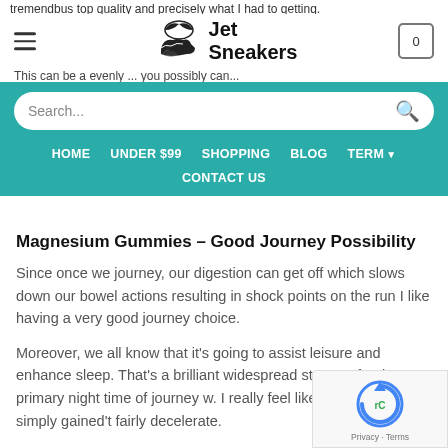tremendbus top quality and precisely what I had to getting.
[Figure (logo): Jet Sneakers logo with winged shoe icon and text 'Jet Sneakers']
This can be a evenly ... you possibly can...
Search...
HOME   UNDER $99   SHOPPING   BLOG   TERM   CONTACT US
Magnesium Gummies – Good Journey Possibility
Since once we journey, our digestion can get off which slows down our bowel actions resulting in shock points on the run I like having a very good journey choice.
Moreover, we all know that it's going to assist leisure and enhance sleep. That's a brilliant widespread stressor for the primary night time of journey w. I really feel like my physique simply gained't fairly decelerate.